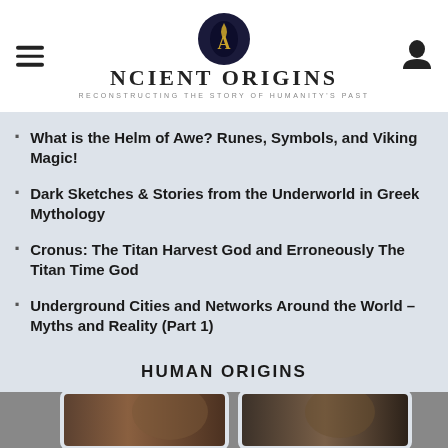Ancient Origins — Reconstructing the story of humanity's past
What is the Helm of Awe? Runes, Symbols, and Viking Magic!
Dark Sketches & Stories from the Underworld in Greek Mythology
Cronus: The Titan Harvest God and Erroneously The Titan Time God
Underground Cities and Networks Around the World – Myths and Reality (Part 1)
Rare Roman Coin Portraying Moon Goddess Luna Retrieved from Israeli Waters
HUMAN ORIGINS
[Figure (photo): Two facial reconstructions of early human ancestors shown in profile and frontal view, side by side]